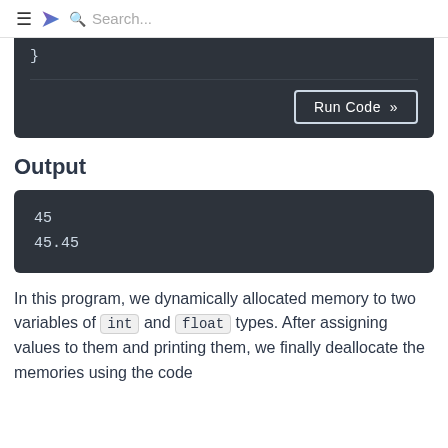≡ ? Search...
[Figure (screenshot): Dark code editor block showing closing brace '}' with a 'Run Code >>' button]
Output
[Figure (screenshot): Dark output block showing: 45 and 45.45]
In this program, we dynamically allocated memory to two variables of int and float types. After assigning values to them and printing them, we finally deallocate the memories using the code